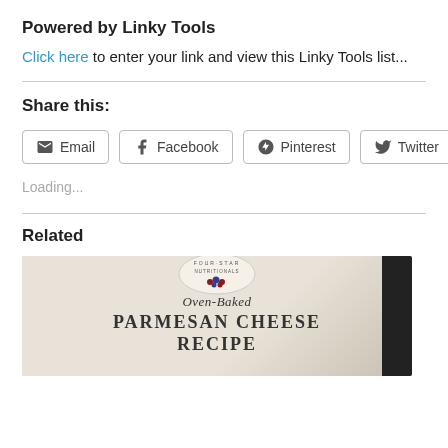Powered by Linky Tools
Click here to enter your link and view this Linky Tools list...
Share this:
Email  Facebook  Pinterest  Twitter
Loading...
Related
[Figure (photo): Product packaging for Four Star Nutritionals Oven-Baked Parmesan Cheese Recipe]